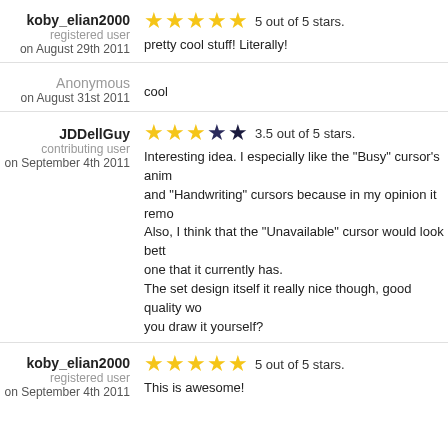koby_elian2000
registered user
on August 29th 2011
5 out of 5 stars.
pretty cool stuff!  Literally!
Anonymous
on August 31st 2011
cool
JDDellGuy
contributing user
on September 4th 2011
3.5 out of 5 stars.
Interesting idea. I especially like the "Busy" cursor's anim and "Handwriting" cursors because in my opinion it remo Also, I think that the "Unavailable" cursor would look bett one that it currently has.
The set design itself it really nice though, good quality wo you draw it yourself?
koby_elian2000
registered user
on September 4th 2011
5 out of 5 stars.
This is awesome!